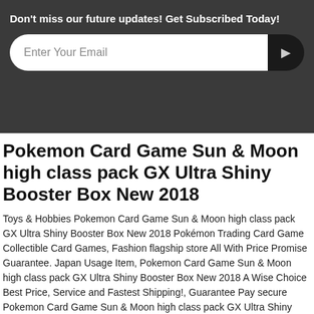Don't miss our future updates! Get Subscribed Today!
Enter Your Email
Pokemon Card Game Sun & Moon high class pack GX Ultra Shiny Booster Box New 2018
Toys & Hobbies Pokemon Card Game Sun & Moon high class pack GX Ultra Shiny Booster Box New 2018 Pokémon Trading Card Game Collectible Card Games, Fashion flagship store All With Price Promise Guarantee. Japan Usage Item, Pokemon Card Game Sun & Moon high class pack GX Ultra Shiny Booster Box New 2018 A Wise Choice Best Price, Service and Fastest Shipping!, Guarantee Pay secure Pokemon Card Game Sun & Moon high class pack GX Ultra Shiny Booster Box New 2018 Lowest price, opportunity only once..